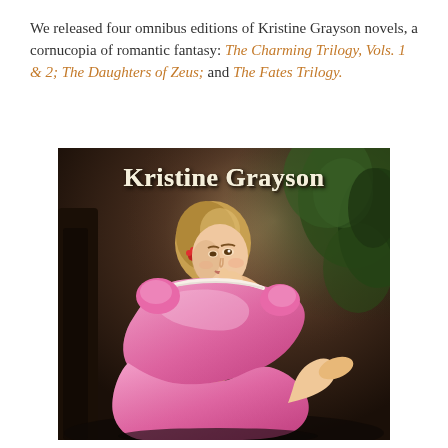We released four omnibus editions of Kristine Grayson novels, a cornucopia of romantic fantasy: The Charming Trilogy, Vols. 1 & 2; The Daughters of Zeus; and The Fates Trilogy.
[Figure (illustration): Book cover for Kristine Grayson omnibus editions, showing a young woman with long braided blonde hair adorned with red flowers, wearing a pink satin dress, seated in a forest setting. The author name 'Kristine Grayson' appears in large decorative white/cream lettering at the top of the cover.]